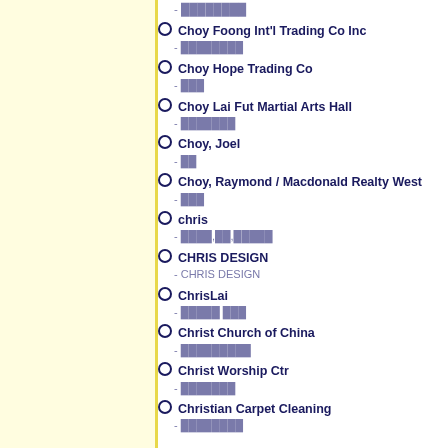Choy Foong Int'l Trading Co Inc - ████████
Choy Hope Trading Co - ███
Choy Lai Fut Martial Arts Hall - ███████
Choy, Joel - ██
Choy, Raymond / Macdonald Realty West - ███
chris - ████,██,█████
CHRIS DESIGN - CHRIS DESIGN
ChrisLai - █████ ███
Christ Church of China - █████████
Christ Worship Ctr - ███████
Christian Carpet Cleaning - ████████